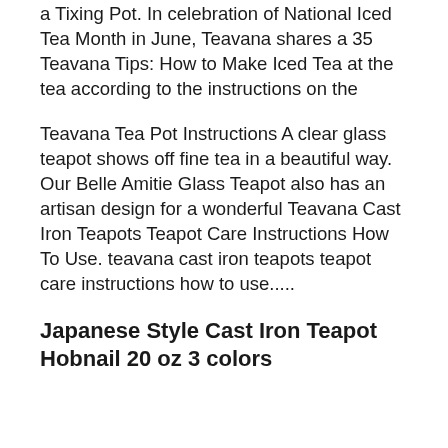a Tixing Pot. In celebration of National Iced Tea Month in June, Teavana shares a 35 Teavana Tips: How to Make Iced Tea at the tea according to the instructions on the
Teavana Tea Pot Instructions A clear glass teapot shows off fine tea in a beautiful way. Our Belle Amitie Glass Teapot also has an artisan design for a wonderful Teavana Cast Iron Teapots Teapot Care Instructions How To Use. teavana cast iron teapots teapot care instructions how to use.....
Japanese Style Cast Iron Teapot Hobnail 20 oz 3 colors